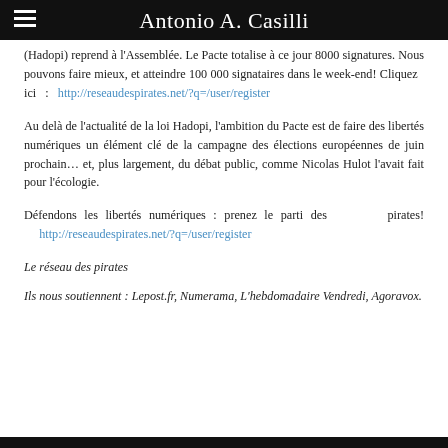Antonio A. Casilli
(Hadopi) reprend à l'Assemblée. Le Pacte totalise à ce jour 8000 signatures. Nous pouvons faire mieux, et atteindre 100 000 signataires dans le week-end! Cliquez ici : http://reseaudespirates.net/?q=/user/register
Au delà de l'actualité de la loi Hadopi, l'ambition du Pacte est de faire des libertés numériques un élément clé de la campagne des élections européennes de juin prochain… et, plus largement, du débat public, comme Nicolas Hulot l'avait fait pour l'écologie.
Défendons les libertés numériques : prenez le parti des pirates! http://reseaudespirates.net/?q=/user/register
Le réseau des pirates
Ils nous soutiennent : Lepost.fr, Numerama, L'hebdomadaire Vendredi, Agoravox.